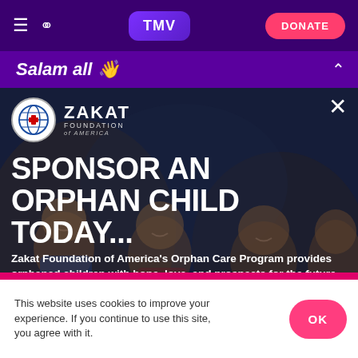TMV | DONATE
Salam all 👋
[Figure (photo): Children smiling and laughing, used as background for Zakat Foundation orphan sponsorship advertisement]
SPONSOR AN ORPHAN CHILD TODAY...
Zakat Foundation of America's Orphan Care Program provides orphaned children with hope, love, and prospects for the future.
100% of your sponsorship provides food, education, hygiene, and other urgent aid to the child.
This website uses cookies to improve your experience. If you continue to use this site, you agree with it.